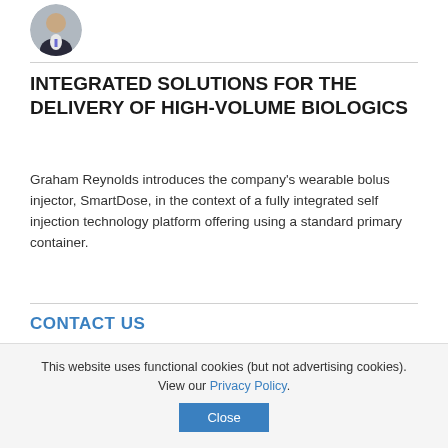[Figure (photo): Circular avatar photo of a man in a suit]
INTEGRATED SOLUTIONS FOR THE DELIVERY OF HIGH-VOLUME BIOLOGICS
Graham Reynolds introduces the company's wearable bolus injector, SmartDose, in the context of a fully integrated self injection technology platform offering using a standard primary container.
CONTACT US
Frederick Furness Publishing Ltd
The Sandh...
This website uses functional cookies (but not advertising cookies). View our Privacy Policy.